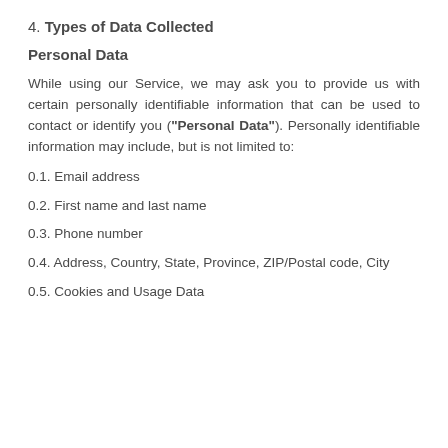4. Types of Data Collected
Personal Data
While using our Service, we may ask you to provide us with certain personally identifiable information that can be used to contact or identify you ("Personal Data"). Personally identifiable information may include, but is not limited to:
0.1. Email address
0.2. First name and last name
0.3. Phone number
0.4. Address, Country, State, Province, ZIP/Postal code, City
0.5. Cookies and Usage Data